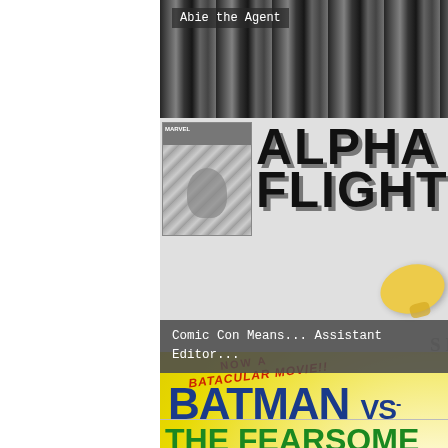[Figure (illustration): Black and white comic strip image - Abie the Agent]
Abie the Agent
[Figure (illustration): Alpha Flight comic book cover with large bold ALPHA FLIGHT text and small comic thumbnail on left, yellow object in center]
Comic Con Means... Assistant Editor...
[Figure (illustration): Batman vs The Fearsome Foursome book/movie cover with yellow background, Batman figure and rider figure]
The First Batman Novel?